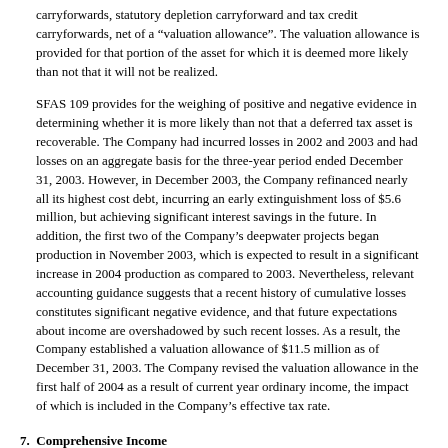carryforwards, statutory depletion carryforward and tax credit carryforwards, net of a “valuation allowance”. The valuation allowance is provided for that portion of the asset for which it is deemed more likely than not that it will not be realized.
SFAS 109 provides for the weighing of positive and negative evidence in determining whether it is more likely than not that a deferred tax asset is recoverable. The Company had incurred losses in 2002 and 2003 and had losses on an aggregate basis for the three-year period ended December 31, 2003. However, in December 2003, the Company refinanced nearly all its highest cost debt, incurring an early extinguishment loss of $5.6 million, but achieving significant interest savings in the future. In addition, the first two of the Company’s deepwater projects began production in November 2003, which is expected to result in a significant increase in 2004 production as compared to 2003. Nevertheless, relevant accounting guidance suggests that a recent history of cumulative losses constitutes significant negative evidence, and that future expectations about income are overshadowed by such recent losses. As a result, the Company established a valuation allowance of $11.5 million as of December 31, 2003. The Company revised the valuation allowance in the first half of 2004 as a result of current year ordinary income, the impact of which is included in the Company’s effective tax rate.
7. Comprehensive Income
A summary of the Company’s comprehensive income (loss) is detailed below (in thousands):